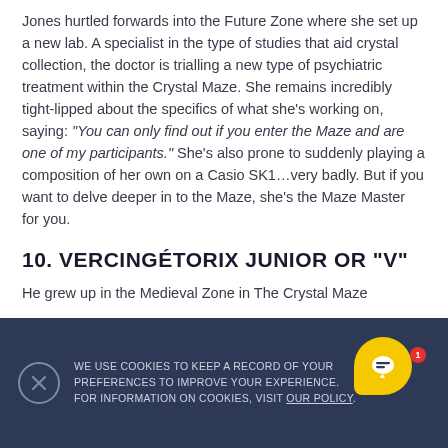Jones hurtled forwards into the Future Zone where she set up a new lab. A specialist in the type of studies that aid crystal collection, the doctor is trialling a new type of psychiatric treatment within the Crystal Maze. She remains incredibly tight-lipped about the specifics of what she’s working on, saying: “You can only find out if you enter the Maze and are one of my participants.” She’s also prone to suddenly playing a composition of her own on a Casio SK1…very badly. But if you want to delve deeper in to the Maze, she’s the Maze Master for you.
10. VERCINGÉTORIX JUNIOR OR “V”
He grew up in the Medieval Zone in The Crystal Maze
WE USE COOKIES TO KEEP A RECORD OF YOUR PREFERENCES TO IMPROVE YOUR EXPERIENCE. FOR INFORMATION ON COOKIES, VISIT OUR POLICY.